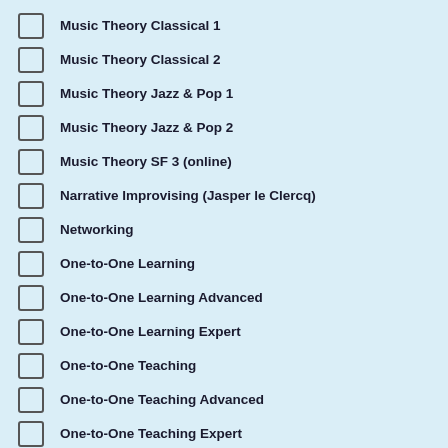Music Theory Classical 1
Music Theory Classical 2
Music Theory Jazz & Pop 1
Music Theory Jazz & Pop 2
Music Theory SF 3 (online)
Narrative Improvising (Jasper le Clercq)
Networking
One-to-One Learning
One-to-One Learning Advanced
One-to-One Learning Expert
One-to-One Teaching
One-to-One Teaching Advanced
One-to-One Teaching Expert